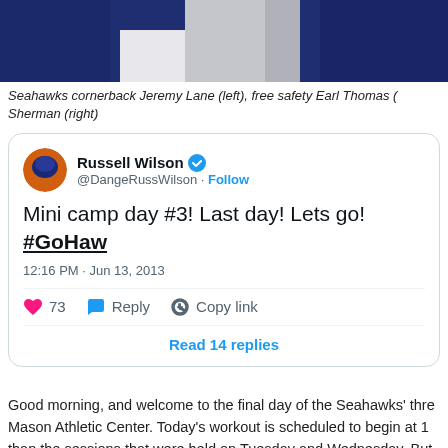[Figure (photo): Cropped photo showing Seahawks players in dark jerseys, partially cut off at top]
Seahawks cornerback Jeremy Lane (left), free safety Earl Thomas (Sherman (right)
[Figure (screenshot): Embedded tweet from Russell Wilson (@DangeRussWilson) with verified badge, reading: 'Mini camp day #3! Last day! Lets go! #GoHaw' (truncated), posted 12:16 PM · Jun 13, 2013, with 73 likes, Reply, Copy link actions, and Read 14 replies button]
Good morning, and welcome to the final day of the Seahawks' thre Mason Athletic Center. Today's workout is scheduled to begin at 1 than the sessions that were held on Tuesday and Wednesday. But be look at what's "out there" about the Seahawks for June 13, 2013:
Eric Williams of the Tacoma News Tribune passes along his notes